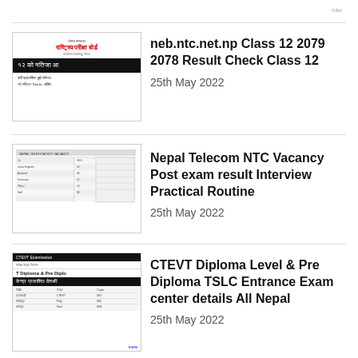[Figure (photo): NEB National Examination Board logo and result announcement image in Nepali]
neb.ntc.net.np Class 12 2079 2078 Result Check Class 12
25th May 2022
[Figure (photo): Nepal Telecom NTC vacancy table document image]
Nepal Telecom NTC Vacancy Post exam result Interview Practical Routine
25th May 2022
[Figure (photo): CTEVT Diploma Level and Pre Diploma TSLC entrance exam center details document]
CTEVT Diploma Level & Pre Diploma TSLC Entrance Exam center details All Nepal
25th May 2022